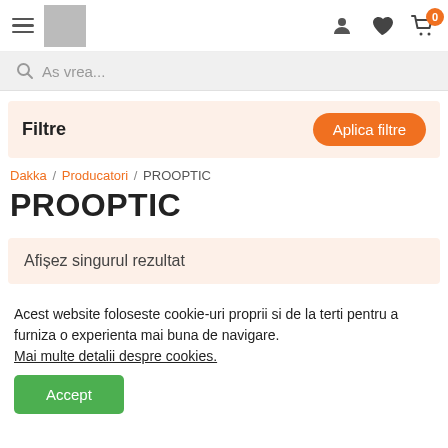Navigation bar with hamburger menu, logo placeholder, user icon, heart icon, and cart icon with badge 0
As vrea...
Filtre
Aplica filtre
Dakka / Producatori / PROOPTIC
PROOPTIC
Afișez singurul rezultat
Acest website foloseste cookie-uri proprii si de la terti pentru a furniza o experienta mai buna de navigare. Mai multe detalii despre cookies.
Accept